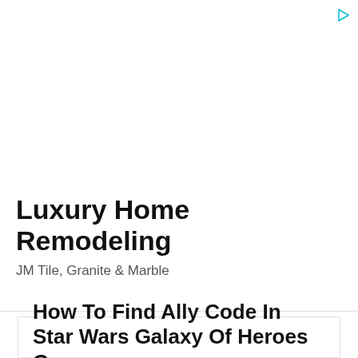[Figure (other): Advertisement banner with play/ad icon in top right corner, white background, large empty space above ad content]
Luxury Home Remodeling
JM Tile, Granite & Marble
How To Find Ally Code In Star Wars Galaxy Of Heroes Game.